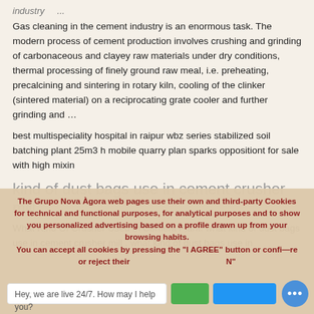industry ...
Gas cleaning in the cement industry is an enormous task. The modern process of cement production involves crushing and grinding of carbonaceous and clayey raw materials under dry conditions, thermal processing of finely ground raw meal, i.e. preheating, precalcining and sintering in rotary kiln, cooling of the clinker (sintered material) on a reciprocating grate cooler and further grinding and …
best multispeciality hospital in raipur wbz series stabilized soil batching plant 25m3 h mobile quarry plan sparks oppositiont for sale with high mixin
kind of dust bags use in cement crusher mill
What Kind Of Crusher Used In Cement Plant. what kind of dust bags use in cement crusher mill . what kind of dust bags use in
The Grupo Nova Àgora web pages use their own and third-party Cookies for technical and functional purposes, for analytical purposes and to show you personalized advertising based on a profile drawn up from your browsing habits.
You can accept all cookies by pressing the "I AGREE" button or configure or reject their ... N
Hey, we are live 24/7. How may I help you?